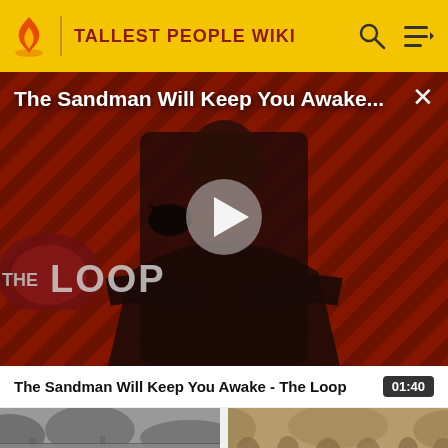TALLEST PEOPLE WIKI
[Figure (screenshot): Video player showing 'The Sandman Will Keep You Awake...' with a person in black clothing against a red diagonal striped background. A large play button triangle is centered. The Loop logo is visible in the lower left. A close (X) button is in the top right corner.]
The Sandman Will Keep You Awake - The Loop	01:40
[Figure (photo): Two video thumbnails side by side. Left thumbnail shows a grayscale outdoor wooded scene. Right thumbnail shows a grayscale/sepia vintage group photo of people outdoors.]